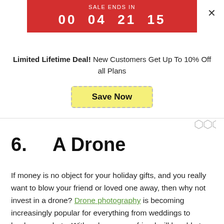[Figure (screenshot): Red sale countdown banner showing 'SALE ENDS IN 00 04 21 15']
Limited Lifetime Deal! New Customers Get Up To 10% Off all Plans
Save Now
[Figure (logo): Wirestock or similar logo mark in grey]
6.      A Drone
If money is no object for your holiday gifts, and you really want to blow your friend or loved one away, then why not invest in a drone? Drone photography is becoming increasingly popular for everything from weddings to landscape shots. With a drone, your friend will be able to capture some genuinely phenomenal photos. It can also help improve their USP at the same time when they're trying to gain new clients.